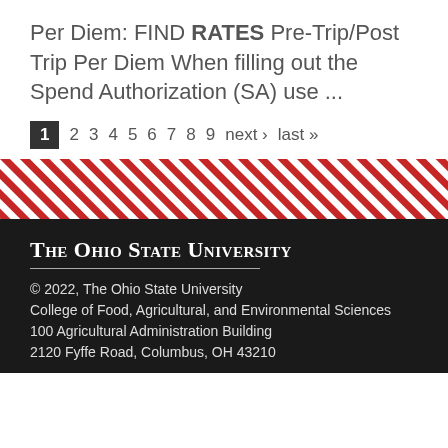Per Diem: FIND RATES Pre-Trip/Post Trip Per Diem When filling out the Spend Authorization (SA) use ...
1 2 3 4 5 6 7 8 9 next › last »
The Ohio State University
© 2022, The Ohio State University
College of Food, Agricultural, and Environmental Sciences
100 Agricultural Administration Building
2120 Fyffe Road, Columbus, OH 43210